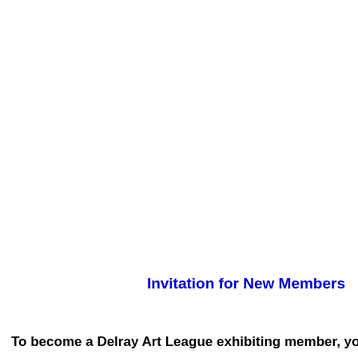Invitation for New Members
To become a Delray Art League exhibiting member, you must su